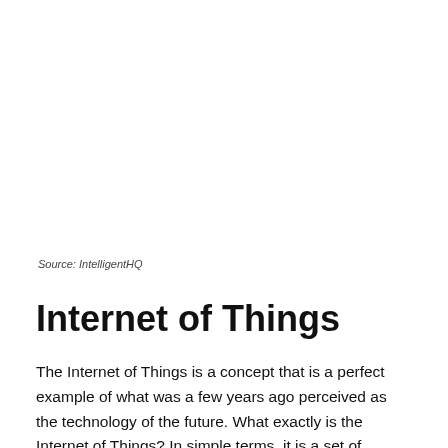Source: IntelligentHQ
Internet of Things
The Internet of Things is a concept that is a perfect example of what was a few years ago perceived as the technology of the future. What exactly is the Internet of Things? In simple terms, it is a set of electronic devices that can communicate